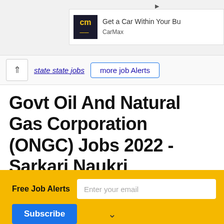[Figure (screenshot): Advertisement banner for CarMax: 'Get a Car Within Your Bu...' with CarMax logo and close icons]
Govt Oil And Natural Gas Corporation (ONGC) Jobs 2022 - Sarkari Naukri navigation bar with back arrow and nav links
Govt Oil And Natural Gas Corporation (ONGC) Jobs 2022 - Sarkari Naukri
Free Job Alerts  Enter your email  Subscribe